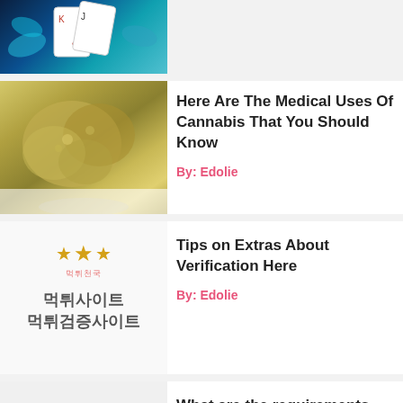[Figure (photo): Partial top image showing playing cards with a blue/teal background, cropped at top of page]
[Figure (photo): Close-up photo of cannabis buds on white background]
Here Are The Medical Uses Of Cannabis That You Should Know
By: Edolie
[Figure (logo): Korean gambling verification site logo with stars and Korean text 먹튀천국, 먹튀사이트 먹튀검증사이트]
Tips on Extras About Verification Here
By: Edolie
What are the requirements open an auto gold trading account?